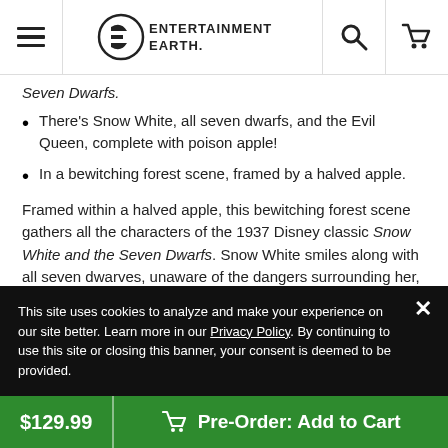Entertainment Earth — navigation header with hamburger menu, logo, search, and cart icons
There's Snow White, all seven dwarfs, and the Evil Queen, complete with poison apple!
In a bewitching forest scene, framed by a halved apple.
Framed within a halved apple, this bewitching forest scene gathers all the characters of the 1937 Disney classic Snow White and the Seven Dwarfs. Snow White smiles along with all seven dwarves, unaware of the dangers surrounding her, while the Evil Queen (in both her forms) plots behind them with poison in the apple. The captivating Disney Traditions Snow White Apple Scene by Jim Shore Statue measures approximately 8-inches tall x 7 1/4-inches wide x 6-inches long. It's
This site uses cookies to analyze and make your experience on our site better. Learn more in our Privacy Policy. By continuing to use this site or closing this banner, your consent is deemed to be provided.
$129.99  Pre-Order: Add to Cart